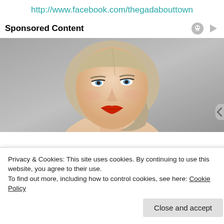http://www.facebook.com/thegadabouttown
Sponsored Content
[Figure (photo): Portrait photo of a blonde woman with red lips looking upward against a grey concrete background]
Privacy & Cookies: This site uses cookies. By continuing to use this website, you agree to their use.
To find out more, including how to control cookies, see here: Cookie Policy
Close and accept